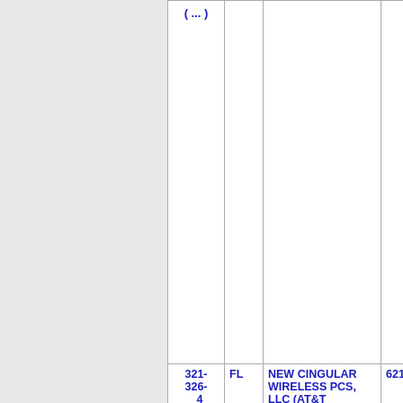| NPA-NXX | ST | Company Name | OCN |
| --- | --- | --- | --- |
| ( ... ) |  |  |  |
| 321-326-4 | FL | NEW CINGULAR WIRELESS PCS, LLC (AT&T Wireless) | 6214 |
| 321-326-5 | FL | ONVOY, LLC - FL (Inteliquent) | 937C |